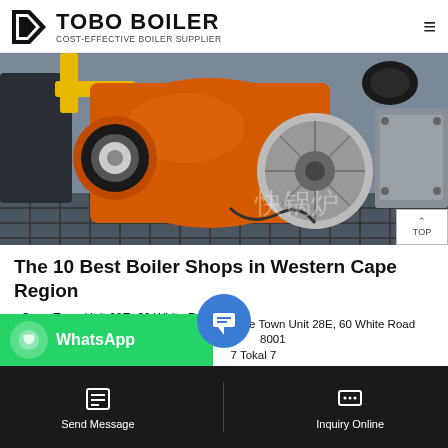TOBO BOILER — COST-EFFECTIVE BOILER SUPPLIER
[Figure (photo): Industrial boiler equipment photo showing an orange gas burner unit with circular fan/blower, yellow pipes, black cylindrical boiler body, and Chinese text watermark. TOP navigation button in bottom-right corner.]
The 10 Best Boiler Shops in Western Cape Region
- Cape Town Unit 28E, 60 White Road
ern 8001
7 Tokal 7
Send Message | Inquiry Online